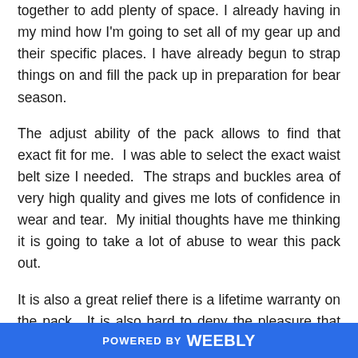together to add plenty of space. I already having in my mind how I'm going to set all of my gear up and their specific places. I have already begun to strap things on and fill the pack up in preparation for bear season.
The adjust ability of the pack allows to find that exact fit for me.  I was able to select the exact waist belt size I needed.  The straps and buckles area of very high quality and gives me lots of confidence in wear and tear.  My initial thoughts have me thinking it is going to take a lot of abuse to wear this pack out.
It is also a great relief there is a lifetime warranty on the pack.  It is also hard to deny the pleasure that the pack is made her in the USA.  Although not a selling point for
POWERED BY weebly